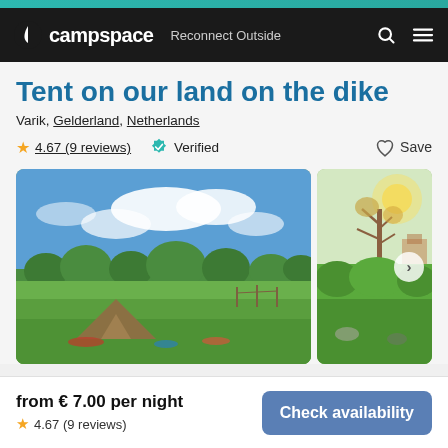campspace — Reconnect Outside
Tent on our land on the dike
Varik, Gelderland, Netherlands
4.67 (9 reviews)  Verified  Save
[Figure (photo): Outdoor camping site on green field with blue sky and trees; tent visible in foreground. Second image shows garden/countryside scene with trees.]
from € 7.00 per night
4.67 (9 reviews)